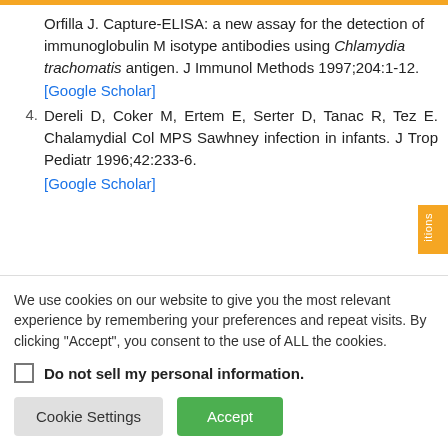Orfilla J. Capture-ELISA: a new assay for the detection of immunoglobulin M isotype antibodies using Chlamydia trachomatis antigen. J Immunol Methods 1997;204:1-12. [Google Scholar]
4. Dereli D, Coker M, Ertem E, Serter D, Tanac R, Tez E. Chalamydial Col MPS Sawhney infection in infants. J Trop Pediatr 1996;42:233-6. [Google Scholar]
We use cookies on our website to give you the most relevant experience by remembering your preferences and repeat visits. By clicking "Accept", you consent to the use of ALL the cookies.
Do not sell my personal information.
Cookie Settings   Accept